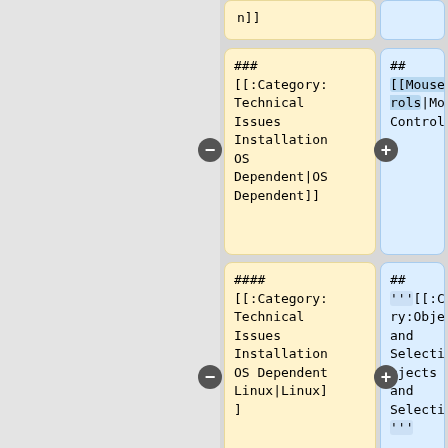n]]
### [[:Category:Technical Issues Installation OS Dependent|OS Dependent]]
## [[Mouse_Controls|Mouse Controls]]
#### [[:Category:Technical Issues Installation OS Dependent Linux|Linux]]
## '''[[:Category:Objects and Selections|Objects and Selections]]''' '''
#### [[:Category:Technical
### '''[[:Category:Working